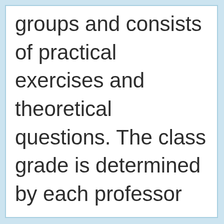groups and consists of practical exercises and theoretical questions. The class grade is determined by each professor